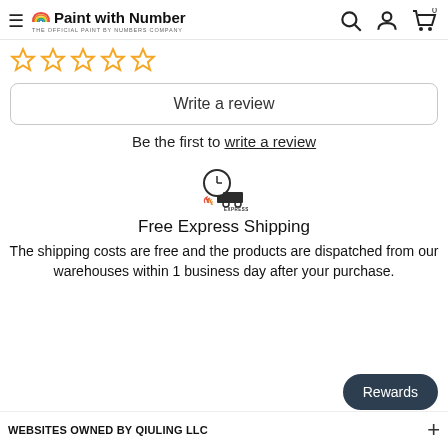Paint with Number — THE OFFICIAL PAINT BY NUMBERS COMPANY
[Figure (other): Five empty star rating icons in orange/yellow]
Write a review
Be the first to write a review
[Figure (illustration): Express shipping icon — delivery truck with clock and flames, labeled EXPRESS]
Free Express Shipping
The shipping costs are free and the products are dispatched from our warehouses within 1 business day after your purchase.
Rewards
WEBSITES OWNED BY QIULING LLC